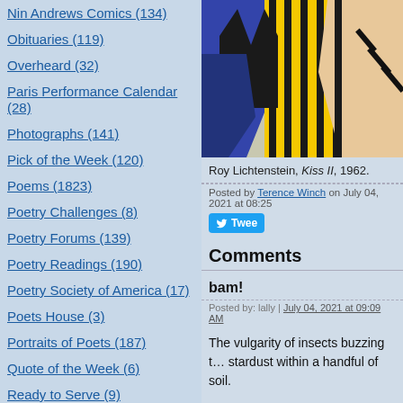Nin Andrews Comics (134)
Obituaries (119)
Overheard (32)
Paris Performance Calendar (28)
Photographs (141)
Pick of the Week (120)
Poems (1823)
Poetry Challenges (8)
Poetry Forums (139)
Poetry Readings (190)
Poetry Society of America (17)
Poets House (3)
Portraits of Poets (187)
Quote of the Week (6)
Ready to Serve (9)
Religion (94)
Science (27)
Scotland (13)
[Figure (illustration): Roy Lichtenstein pop art painting showing a woman with yellow hair and blue/black graphic style - Kiss II, 1962]
Roy Lichtenstein, Kiss II, 1962.
Posted by Terence Winch on July 04, 2021 at 08:25
Comments
bam!
Posted by: lally | July 04, 2021 at 09:09 AM
The vulgarity of insects buzzing t... stardust within a handful of soil.